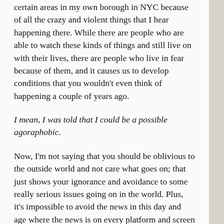certain areas in my own borough in NYC because of all the crazy and violent things that I hear happening there. While there are people who are able to watch these kinds of things and still live on with their lives, there are people who live in fear because of them, and it causes us to develop conditions that you wouldn't even think of happening a couple of years ago.
I mean, I was told that I could be a possible agoraphobic.
Now, I'm not saying that you should be oblivious to the outside world and not care what goes on; that just shows your ignorance and avoidance to some really serious issues going on in the world. Plus, it's impossible to avoid the news in this day and age where the news is on every platform and screen you interact with. Sadly, it's something you can't just avoid and to all intensive purposes, you shouldn't.